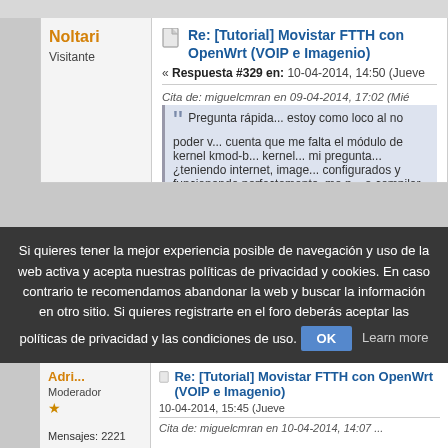Noltari
Visitante
Re: [Tutorial] Movistar FTTH con OpenWrt (VOIP e Imagenio)
« Respuesta #329 en: 10-04-2014, 14:50 (Jueve
Cita de: miguelcmran en 09-04-2014, 17:02 (Mié
Pregunta rápida... estoy como loco al no poder v... cuenta que me falta el módulo de kernel kmod-b... kernel... mi pregunta... ¿teniendo internet, image... configurados y funcionando perfectamente, me p... a compilar el firmware con él módulo kmod-brid... configuración? ¿funcionaría? ¿o me tocará volve...
Si no tienes kmod-bridge no puedes activ... multicast dirigido al bridge LAN se transm... (ethernet, wifi, etc.), por lo que se te satur...
Saludos.
Si quieres tener la mejor experiencia posible de navegación y uso de la web activa y acepta nuestras políticas de privacidad y cookies. En caso contrario te recomendamos abandonar la web y buscar la información en otro sitio. Si quieres registrarte en el foro deberás aceptar las políticas de privacidad y las condiciones de uso.
OK  Learn more
Moderador
Mensajes: 2221
Re: [Tutorial] Movistar FTTH con OpenWrt (VOIP e Imagenio)
10-04-2014, 15:45 (Jueve
Cita de: miguelcmran en 10-04-2014, 14:07 ...